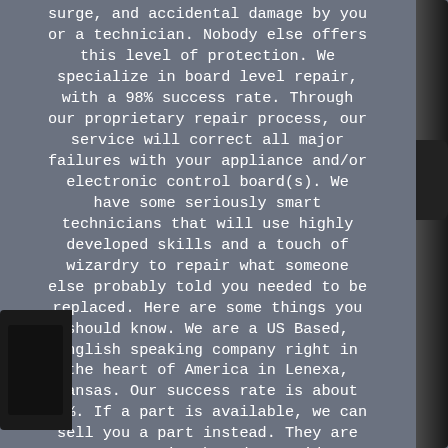surge, and accidental damage by you or a technician. Nobody else offers this level of protection. We specialize in board level repair, with a 98% success rate. Through our proprietary repair process, our service will correct all major failures with your appliance and/or electronic control board(s). We have some seriously smart technicians that will use highly developed skills and a touch of wizardry to repair what someone else probably told you needed to be replaced. Here are some things you should know. We are a US Based, English speaking company right in the heart of America in Lenexa, Kansas. Our success rate is about 98%. If a part is available, we can sell you a part instead. They are more expensive but do provide a quicker turnaround. We are humans, this means we can't guarantee you a